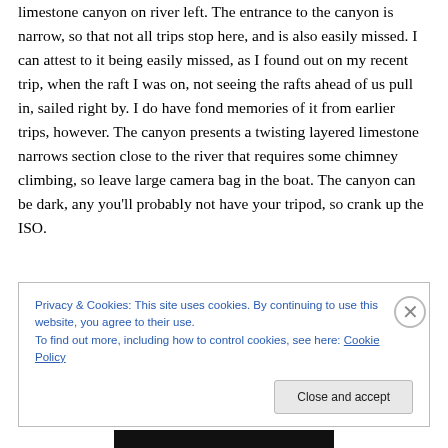limestone canyon on river left. The entrance to the canyon is narrow, so that not all trips stop here, and is also easily missed. I can attest to it being easily missed, as I found out on my recent trip, when the raft I was on, not seeing the rafts ahead of us pull in, sailed right by. I do have fond memories of it from earlier trips, however. The canyon presents a twisting layered limestone narrows section close to the river that requires some chimney climbing, so leave large camera bag in the boat. The canyon can be dark, any you'll probably not have your tripod, so crank up the ISO.
Privacy & Cookies: This site uses cookies. By continuing to use this website, you agree to their use.
To find out more, including how to control cookies, see here: Cookie Policy
Close and accept